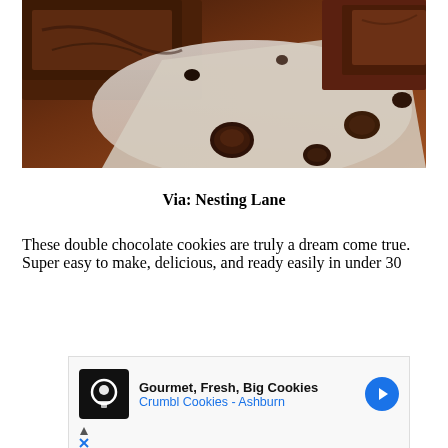[Figure (photo): Close-up photo of dark chocolate brownies or chocolate cookies with chocolate chips on parchment paper]
Via: Nesting Lane
These double chocolate cookies are truly a dream come true. Super easy to make, delicious, and ready easily in under 30
[Figure (screenshot): Advertisement banner for Crumbl Cookies - Ashburn featuring logo and text 'Gourmet, Fresh, Big Cookies']